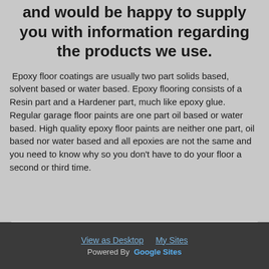and would be happy to supply you with information regarding the products we use.
Epoxy floor coatings are usually two part solids based, solvent based or water based. Epoxy flooring consists of a Resin part and a Hardener part, much like epoxy glue. Regular garage floor paints are one part oil based or water based. High quality epoxy floor paints are neither one part, oil based nor water based and all epoxies are not the same and you need to know why so you don't have to do your floor a second or third time.
Comments
View as Desktop   My Sites
Powered By  Google Sites